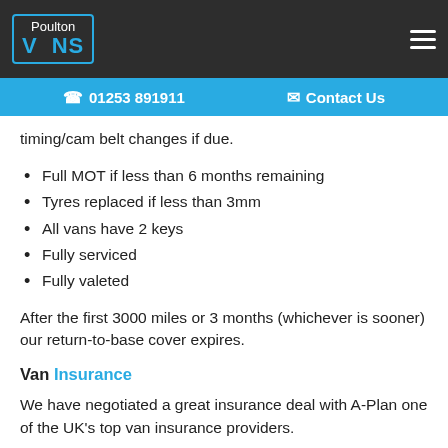Poulton VANS | 01253 891911 | Contact Us
timing/cam belt changes if due.
Full MOT if less than 6 months remaining
Tyres replaced if less than 3mm
All vans have 2 keys
Fully serviced
Fully valeted
After the first 3000 miles or 3 months (whichever is sooner) our return-to-base cover expires.
Van Insurance
We have negotiated a great insurance deal with A-Plan one of the UK's top van insurance providers.